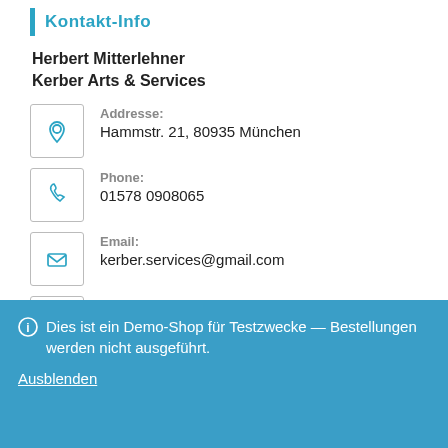Kontakt-Info
Herbert Mitterlehner
Kerber Arts & Services
Addresse: Hammstr. 21, 80935 München
Phone: 01578 0908065
Email: kerber.services@gmail.com
Website: https://bodenleger-muenchen.com
Dies ist ein Demo-Shop für Testzwecke — Bestellungen werden nicht ausgeführt. Ausblenden